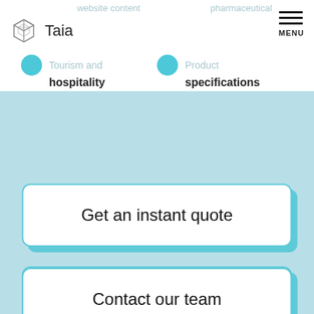website content | pharmaceutical
[Figure (logo): Taia logo with 3D cube/box icon and text 'Taia']
MENU
Tourism and hospitality
Product specifications
Get an instant quote
Contact our team